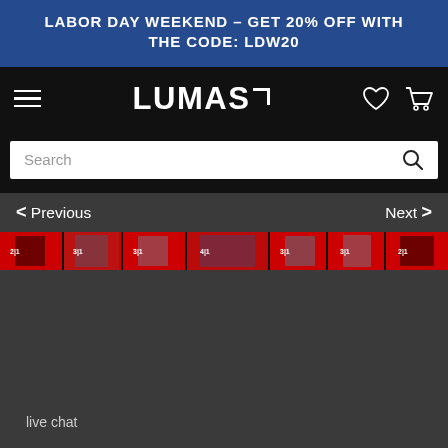LABOR DAY WEEKEND – GET 20% OFF WITH THE CODE: LDW20
[Figure (screenshot): LUMAS website navigation bar with hamburger menu on left, LUMAS logo in center, heart and cart icons on right]
Search
< Previous   Next >
[Figure (photo): Horizontal thumbnail strip showing a row of small red-dominant artwork thumbnails]
live chat